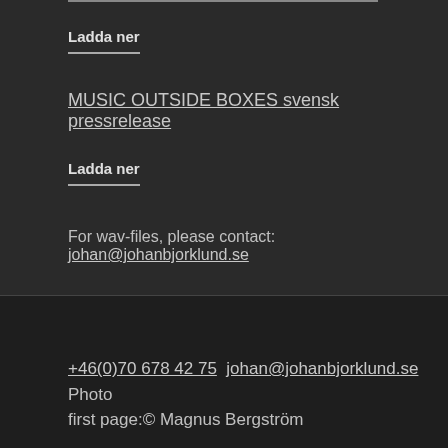Ladda ner
MUSIC OUTSIDE BOXES svensk pressrelease
Ladda ner
For wav-files, please contact: johan@johanbjorklund.se
+46(0)70 678 42 75 johan@johanbjorklund.se Photo first page:© Magnus Bergström